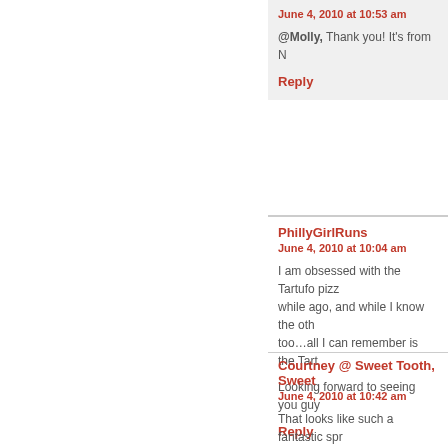June 4, 2010 at 10:53 am
@Molly, Thank you! It's from N
Reply
PhillyGirlRuns
June 4, 2010 at 10:04 am
I am obsessed with the Tartufo pizz while ago, and while I know the oth too…all I can remember is the Tart
Looking forward to seeing you guy
Reply
Courtney @ Sweet Tooth, Sweet
June 4, 2010 at 10:42 am
That looks like such a fantastic spr nervous to try to the tarfuto, but it s